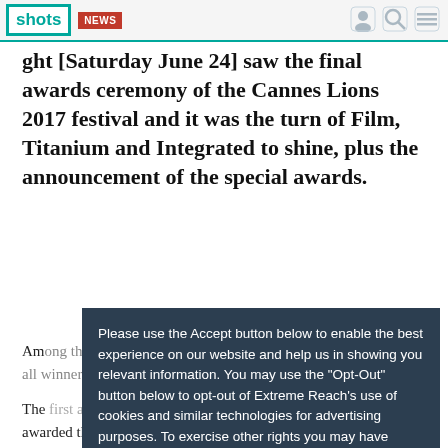shots NEWS
ght [Saturday June 24] saw the final awards ceremony of the Cannes Lions 2017 festival and it was the turn of Film, Titanium and Integrated to shine, plus the announcement of the special awards.
Among the special prizes, which are listed below, gathered in the all winners, ts that ons.
Please use the Accept button below to enable the best experience on our website and help us in showing you relevant information. You may use the "Opt-Out" button below to opt-out of Extreme Reach's use of cookies and similar technologies for advertising purposes. To exercise other rights you may have related to cookies, select "More Info" or see this "Do Not Sell My Personal Information" link.
The first arrived w... and creative chairman of Droga5, was awarded the Lion